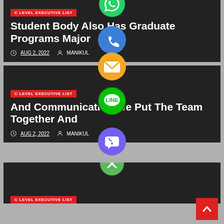[Figure (screenshot): Website article card with dark background showing badge 'C LEVEL EXECUTIVE LIST', title 'Student Body Also Has Graduate Programs Major', date 'AUG 2, 2022', and author 'MANIKUL'. Social media share icons (WhatsApp green, phone blue) overlaid on the card.]
[Figure (screenshot): Website article card with dark background showing badge 'C LEVEL EXECUTIVE LIST', title 'And Communication We Put The Team Together And', date 'AUG 2, 2022', and author 'MANIKUL'. Social media share icons (orange email, LINE green, Viber purple) overlaid on the card.]
[Figure (screenshot): Partial third article card at bottom with dark background. Green close/X button overlaid. Red scroll-to-top button at bottom right.]